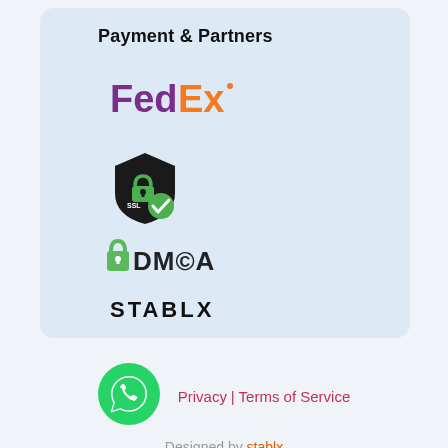Payment & Partners
[Figure (logo): FedEx logo in purple and orange]
[Figure (logo): SSL Secure shield logo with green checkmark]
[Figure (logo): DMCA logo with green padlock icon]
[Figure (logo): STABLX logo in bold black text]
[Figure (logo): WhatsApp green circle icon]
Privacy | Terms of Service
Designed by stablx